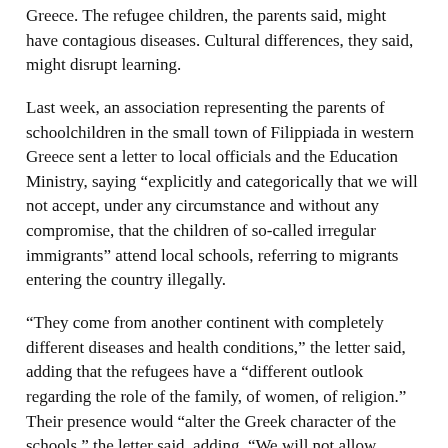Greece. The refugee children, the parents said, might have contagious diseases. Cultural differences, they said, might disrupt learning.
Last week, an association representing the parents of schoolchildren in the small town of Filippiada in western Greece sent a letter to local officials and the Education Ministry, saying “explicitly and categorically that we will not accept, under any circumstance and without any compromise, that the children of so-called irregular immigrants” attend local schools, referring to migrants entering the country illegally.
“They come from another continent with completely different diseases and health conditions,” the letter said, adding that the refugees have a “different outlook regarding the role of the family, of women, of religion.” Their presence would “alter the Greek character of the schools,” the letter said, adding, “We will not allow religious fanaticism.”
More